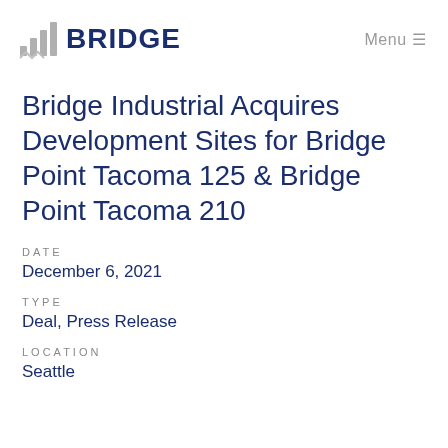BRIDGE   Menu
Bridge Industrial Acquires Development Sites for Bridge Point Tacoma 125 & Bridge Point Tacoma 210
DATE
December 6, 2021
TYPE
Deal, Press Release
LOCATION
Seattle